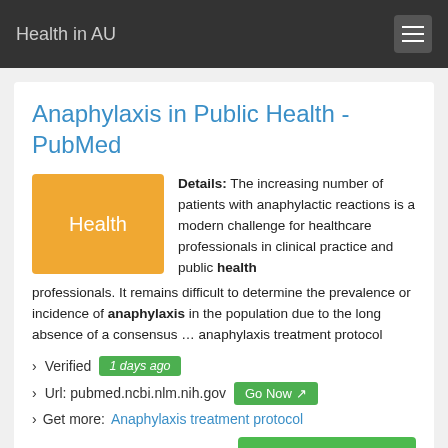Health in AU
Anaphylaxis in Public Health - PubMed
Details: The increasing number of patients with anaphylactic reactions is a modern challenge for healthcare professionals in clinical practice and public health professionals. It remains difficult to determine the prevalence or incidence of anaphylaxis in the population due to the long absence of a consensus … anaphylaxis treatment protocol
› Verified 1 days ago
› Url: pubmed.ncbi.nlm.nih.gov Go Now
› Get more: Anaphylaxis treatment protocol
Show List Health